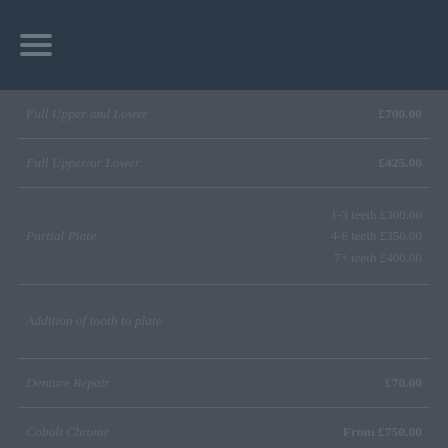Navigation menu
| Service | Price |
| --- | --- |
| Full Upper and Lower | £700.00 |
| Full Upper/or Lower | £425.00 |
| Partial Plate | 1-3 teeth £300.00
4-6 teeth £350.00
7+ teeth £400.00 |
| Addition of tooth to plate | £50.00 (£15 per extra tooth) |
| Denture Repair | £70.00 |
| Cobalt Chrome | From £750.00 |
| Sunflex Dentures | From £450.00 |